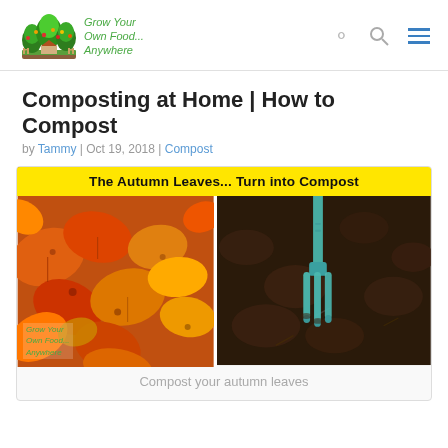[Figure (logo): Grow Your Own Food... Anywhere logo with garden illustration and green script text]
Composting at Home | How to Compost
by Tammy | Oct 19, 2018 | Compost
[Figure (photo): Composite image showing autumn leaves on the left and a garden fork in dark compost soil on the right, with yellow banner text: The Autumn Leaves... Turn into Compost. Watermark: Grow Your Own Food... Anywhere]
Compost your autumn leaves